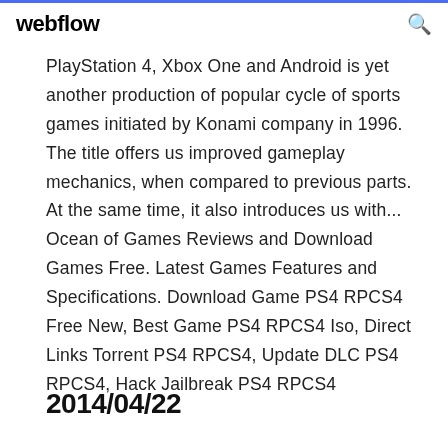webflow
PlayStation 4, Xbox One and Android is yet another production of popular cycle of sports games initiated by Konami company in 1996. The title offers us improved gameplay mechanics, when compared to previous parts. At the same time, it also introduces us with... Ocean of Games Reviews and Download Games Free. Latest Games Features and Specifications. Download Game PS4 RPCS4 Free New, Best Game PS4 RPCS4 Iso, Direct Links Torrent PS4 RPCS4, Update DLC PS4 RPCS4, Hack Jailbreak PS4 RPCS4
2014/04/22